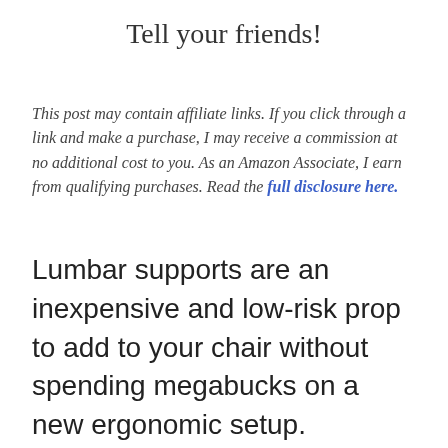Tell your friends!
This post may contain affiliate links. If you click through a link and make a purchase, I may receive a commission at no additional cost to you. As an Amazon Associate, I earn from qualifying purchases. Read the full disclosure here.
Lumbar supports are an inexpensive and low-risk prop to add to your chair without spending megabucks on a new ergonomic setup.